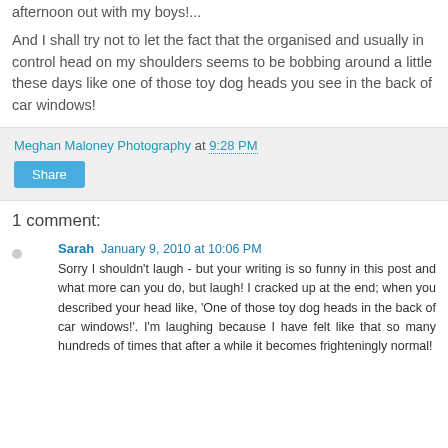afternoon out with my boys!...
And I shall try not to let the fact that the organised and usually in control head on my shoulders seems to be bobbing around a little these days like one of those toy dog heads you see in the back of car windows!
Meghan Maloney Photography at 9:28 PM
Share
1 comment:
Sarah January 9, 2010 at 10:06 PM
Sorry I shouldn't laugh - but your writing is so funny in this post and what more can you do, but laugh! I cracked up at the end; when you described your head like, 'One of those toy dog heads in the back of car windows!'. I'm laughing because I have felt like that so many hundreds of times that after a while it becomes frighteningly normal!